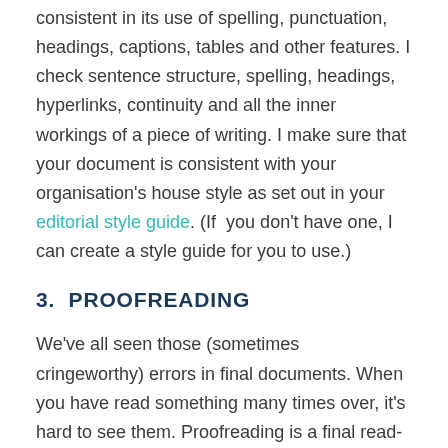consistent in its use of spelling, punctuation, headings, captions, tables and other features. I check sentence structure, spelling, headings, hyperlinks, continuity and all the inner workings of a piece of writing. I make sure that your document is consistent with your organisation's house style as set out in your editorial style guide. (If  you don't have one, I can create a style guide for you to use.)
3. PROOFREADING
We've all seen those (sometimes cringeworthy) errors in final documents. When you have read something many times over, it's hard to see them. Proofreading is a final read-through for typos, spelling and punctuation errors, style mistakes, working links, sensible page breaks and the like. Sometimes the final version is checked against an earlier version. A thorough proofread weeds out any